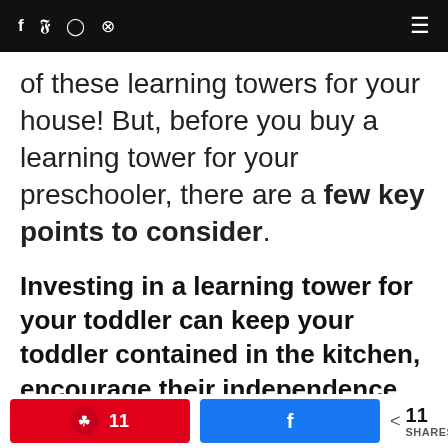f  y  ◎  ⊕  ≡
of these learning towers for your house! But, before you buy a learning tower for your preschooler, there are a few key points to consider.
Investing in a learning tower for your toddler can keep your toddler contained in the kitchen, encourage their independence, and give you space to do the real cooking!
11  [Pinterest share button]  [Facebook share button]  < 11 SHARES